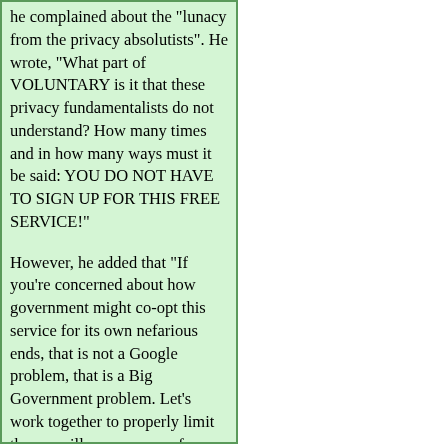...although Pickett, in which he complained about the "lunacy from the privacy absolutists". He wrote, "What part of VOLUNTARY is it that these privacy fundamentalists do not understand? How many times and in how many ways must it be said: YOU DO NOT HAVE TO SIGN UP FOR THIS FREE SERVICE!"

However, he added that "If you're concerned about how government might co-opt this service for its own nefarious ends, that is not a Google problem, that is a Big Government problem. Let's work together to properly limit the surveillance powers of government instead of shutting down any new private service or technology that we feel the feds might have to chance to abuse."